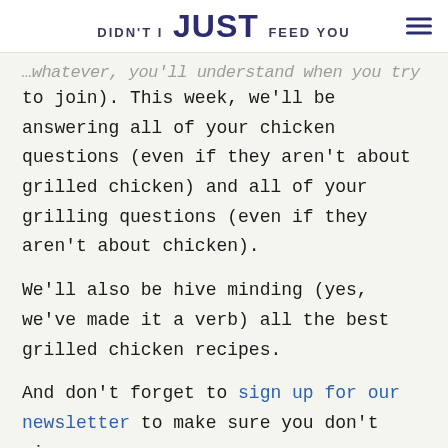DIDN'T I JUST FEED YOU
…whatever, you'll understand when you try to join). This week, we'll be answering all of your chicken questions (even if they aren't about grilled chicken) and all of your grilling questions (even if they aren't about chicken).
We'll also be hive minding (yes, we've made it a verb) all the best grilled chicken recipes.
And don't forget to sign up for our newsletter to make sure you don't miss a